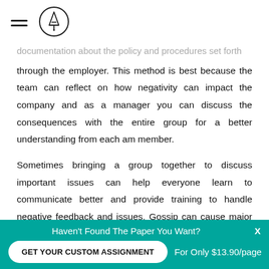documentation about the policy and procedures set forth through the employer. This method is best because the team can reflect on how negativity can impact the company and as a manager you can discuss the consequences with the entire group for a better understanding from each am member.
Sometimes bringing a group together to discuss important issues can help everyone learn to communicate better and provide training to handle negative feedback and issues. Gossip can cause major problems in the
Haven't Found The Paper You Want?
GET YOUR CUSTOM ASSIGNMENT
For Only $13.90/page